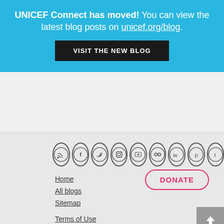UNICEF Connect has moved! You can view the latest blog posts on unicef.org/blog.
VISIT THE NEW BLOG
[Figure (other): Social media icons in circles: RSS, Facebook, Twitter, Instagram, YouTube, Flickr, LinkedIn, Pinterest, Tumblr]
DONATE
Home
All blogs
Sitemap
Terms of Use
UNICEF